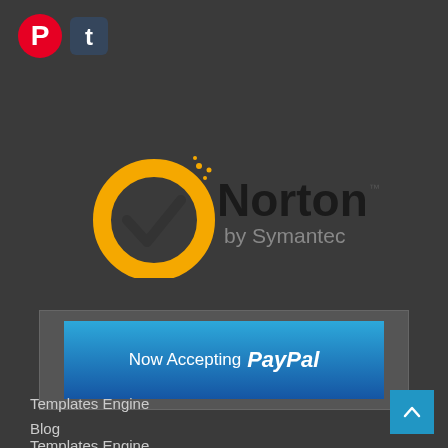[Figure (logo): Pinterest logo icon (red circle with P)]
[Figure (logo): Tumblr logo icon (blue rounded square with t)]
[Figure (logo): Norton by Symantec logo with yellow ring, checkmark, and text]
[Figure (infographic): Now Accepting PayPal banner with blue gradient background]
Templates Engine
Blog
About Us
FAQs
My account